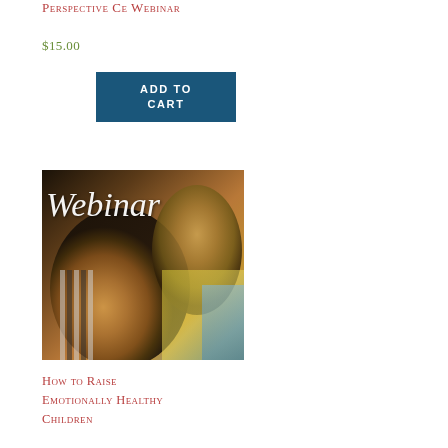Perspective CE Webinar
$15.00
Add to cart
[Figure (photo): A smiling woman holding a young child, with 'Webinar' text overlay in white italic script on a photographic background.]
How to Raise Emotionally Healthy Children